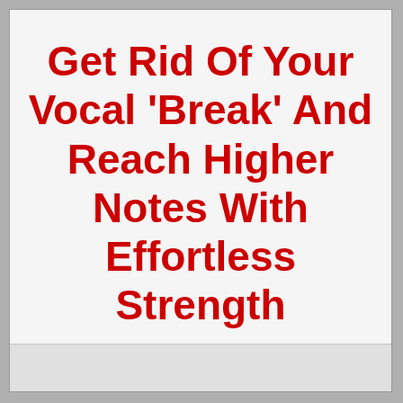Get Rid Of Your Vocal 'Break' And Reach Higher Notes With Effortless Strength